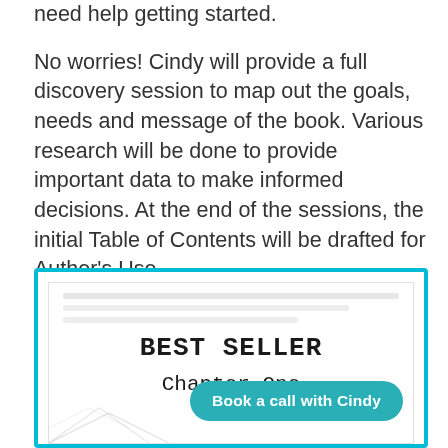need help getting started.
No worries! Cindy will provide a full discovery session to map out the goals, needs and message of the book. Various research will be done to provide important data to make informed decisions. At the end of the sessions, the initial Table of Contents will be drafted for Author's Use.
[Figure (illustration): A mock book page inside a cyan/teal bordered box showing 'BEST SELLER' and 'Chapter One' in typewriter font, with a 'Book a call with Cindy' teal call-to-action button overlay at the bottom right.]